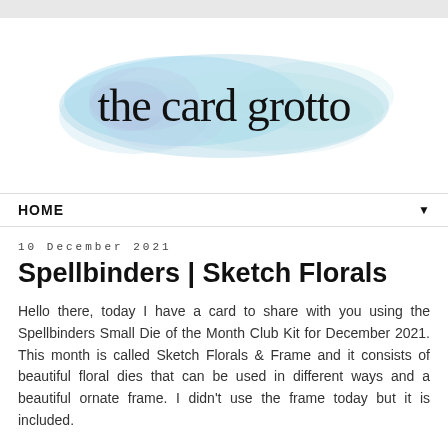[Figure (logo): The Card Grotto blog logo with watercolor pastel blue and purple cloud background and handwritten-style black text reading 'the card grotto']
HOME ▼
10 December 2021
Spellbinders | Sketch Florals
Hello there, today I have a card to share with you using the Spellbinders Small Die of the Month Club Kit for December 2021. This month is called Sketch Florals & Frame and it consists of beautiful floral dies that can be used in different ways and a beautiful ornate frame. I didn't use the frame today but it is included.